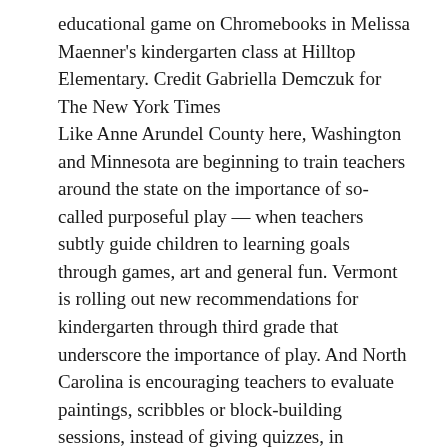educational game on Chromebooks in Melissa Maenner's kindergarten class at Hilltop Elementary. Credit Gabriella Demczuk for The New York Times
Like Anne Arundel County here, Washington and Minnesota are beginning to train teachers around the state on the importance of so-called purposeful play — when teachers subtly guide children to learning goals through games, art and general fun. Vermont is rolling out new recommendations for kindergarten through third grade that underscore the importance of play. And North Carolina is encouraging teachers to evaluate paintings, scribbles or block-building sessions, instead of giving quizzes, in assessing the reading, math and social skills of kindergartners.
But educators in low-income districts say a balance is critical. They warn that unlike students from affluent families, poorer children may not learn the basics of reading and math at home and may fall behind if play dominates so much that academics wither.